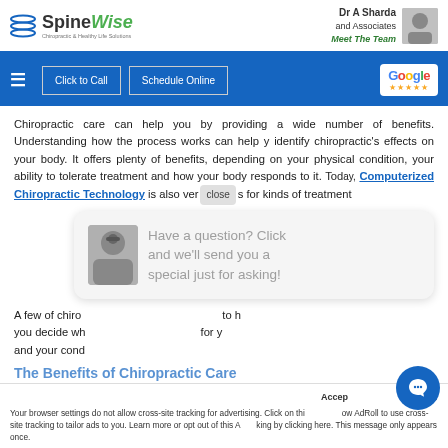SpineWise — Dr A Sharda and Associates — Meet The Team
[Figure (screenshot): SpineWise logo with green circle icon and navigation bar with Click to Call, Schedule Online buttons and Google rating badge]
Chiropractic care can help you by providing a wide number of benefits. Understanding how the process works can help you identify chiropractic's effects on your body. It offers plenty of benefits, depending on your physical condition, your ability to tolerate treatment and how your body responds to it. Today, Computerized Chiropractic Technology is also very useful for all kinds of treatment
[Figure (screenshot): Chat popup showing a woman with headset and text: Have a question? Click and we'll send you a special just for asking! with close button]
A few of chiropractic benefits are mentioned below to help you decide what kind of chiropractic treatment is best for you and your condition.
The Benefits of Chiropractic Care
Accept — Your browser settings do not allow cross-site tracking for advertising. Click on this to allow AdRoll to use cross-site tracking to tailor ads to you. Learn more or opt out of this AdRoll tracking by clicking here. This message only appears once.